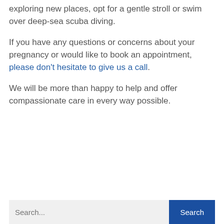exploring new places, opt for a gentle stroll or swim over deep-sea scuba diving.
If you have any questions or concerns about your pregnancy or would like to book an appointment, please don't hesitate to give us a call.
We will be more than happy to help and offer compassionate care in every way possible.